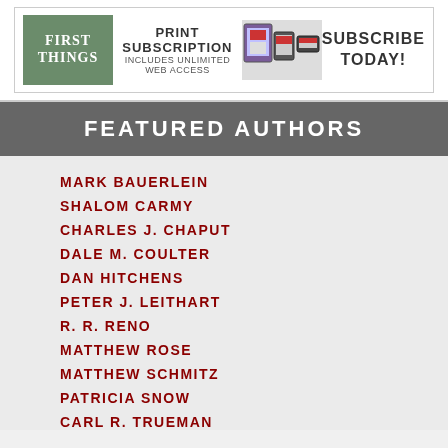[Figure (advertisement): First Things magazine print subscription banner ad with logo, device images, and Subscribe Today call to action]
FEATURED AUTHORS
MARK BAUERLEIN
SHALOM CARMY
CHARLES J. CHAPUT
DALE M. COULTER
DAN HITCHENS
PETER J. LEITHART
R. R. RENO
MATTHEW ROSE
MATTHEW SCHMITZ
PATRICIA SNOW
CARL R. TRUEMAN